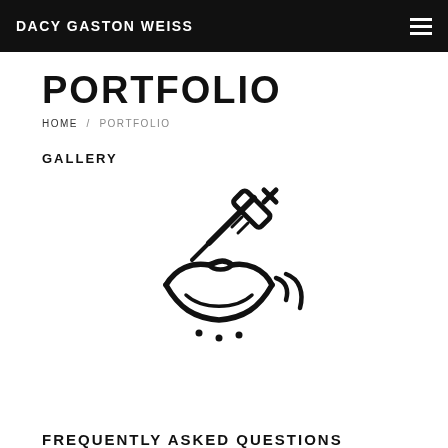DACY GASTON WEISS
PORTFOLIO
HOME / PORTFOLIO
GALLERY
[Figure (illustration): Icon of a syringe injecting into lips with motion lines, medical/cosmetic illustration in black line art style]
FREQUENTLY ASKED QUESTIONS